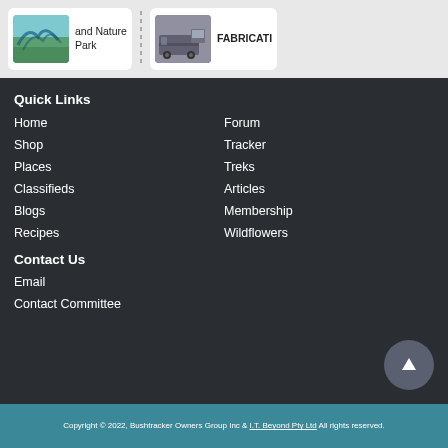[Figure (screenshot): Top section showing two content cards: one with a nature park image and text 'and Nature Park', another with a truck/vehicle image and text 'FABRICATI...' with a dashed vertical divider between them]
Quick Links
Home
Forum
Shop
Tracker
Places
Treks
Classifieds
Articles
Blogs
Membership
Recipes
Wildflowers
Contact Us
Email
Contact Committee
Copyright © 2022, Bushtracker Owners Group Inc & I.T. Beyond Pty Ltd All rights reserved.